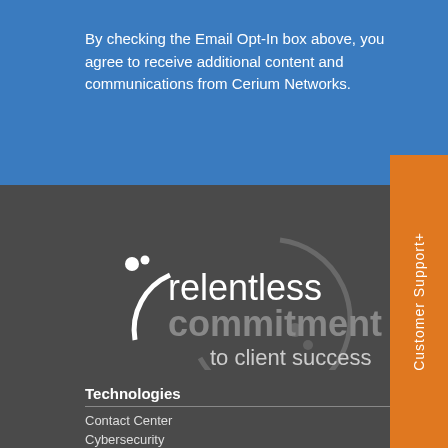By checking the Email Opt-In box above, you agree to receive additional content and communications from Cerium Networks.
[Figure (logo): Cerium Networks logo with text: relentless commitment to client success, with circular arc graphic and dots]
Technologies
Contact Center
Cybersecurity
Data Center
Networking